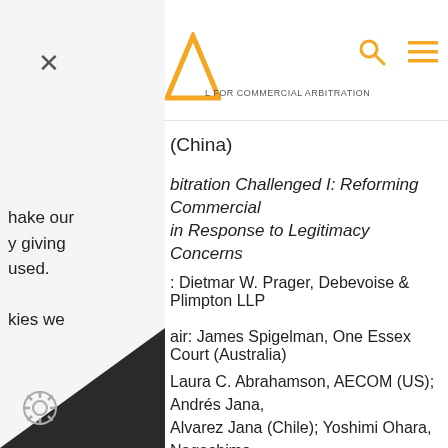L FOR COMMERCIAL ARBITRATION
(China)
hake our
y giving
used.
kies we
bitration Challenged I: Reforming Commercial in Response to Legitimacy Concerns
: Dietmar W. Prager, Debevoise & Plimpton LLP
air: James Spigelman, One Essex Court (Australia)
Laura C. Abrahamson, AECOM (US); Andrés Jana, Alvarez Jana (Chile); Yoshimi Ohara, Nagashima unematsu (Japan); Noradèle Radjai, LALIVE (UK,
oitration Challenged II: Party Autonomy in Choosing Makers: Advantages and Drawbacks – Should it be
: Gabrielle Kaufmann-Kohler, Lévy Kaufmann-